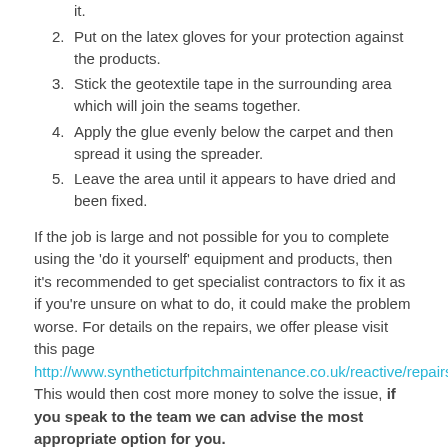it.
2. Put on the latex gloves for your protection against the products.
3. Stick the geotextile tape in the surrounding area which will join the seams together.
4. Apply the glue evenly below the carpet and then spread it using the spreader.
5. Leave the area until it appears to have dried and been fixed.
If the job is large and not possible for you to complete using the 'do it yourself' equipment and products, then it's recommended to get specialist contractors to fix it as if you're unsure on what to do, it could make the problem worse. For details on the repairs, we offer please visit this page http://www.syntheticturfpitchmaintenance.co.uk/reactive/repairs/derby This would then cost more money to solve the issue, if you speak to the team we can advise the most appropriate option for you.
Sports Pitch Maintenance
When carrying out sports pitch maintenance in Bolsover S44 6 it is important that you use specialist tools and equipment in order in